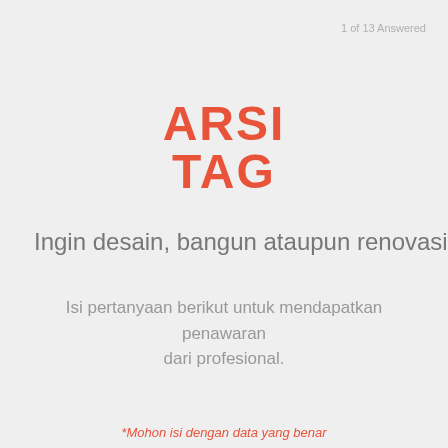1 of 13 Answered
[Figure (logo): ARSITAG logo in bold red/coral uppercase letters, styled as two lines: ARSI and TAG]
Ingin desain, bangun ataupun renovasi?
Isi pertanyaan berikut untuk mendapatkan penawaran dari profesional.
*Mohon isi dengan data yang benar